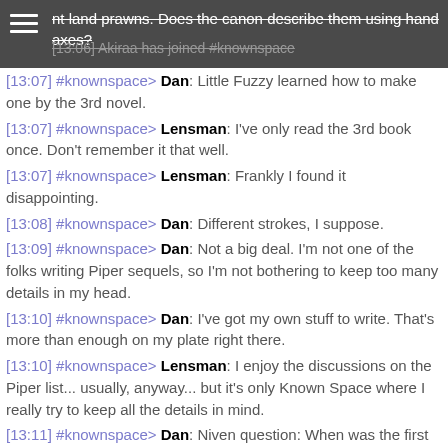nt land prawns. Does the canon describe them using hand axes?
[13:06] Akiraa has joined #knownspace
[13:07] #knownspace> Dan: Little Fuzzy learned how to make one by the 3rd novel.
[13:07] #knownspace> Lensman: I've only read the 3rd book once. Don't remember it that well.
[13:07] #knownspace> Lensman: Frankly I found it disappointing.
[13:08] #knownspace> Dan: Different strokes, I suppose.
[13:09] #knownspace> Dan: Not a big deal. I'm not one of the folks writing Piper sequels, so I'm not bothering to keep too many details in my head.
[13:10] #knownspace> Dan: I've got my own stuff to write. That's more than enough on my plate right there.
[13:10] #knownspace> Lensman: I enjoy the discussions on the Piper list... usually, anyway... but it's only Known Space where I really try to keep all the details in mind.
[13:11] #knownspace> Dan: Niven question: When was the first Draco Tavern story published?
[13:11] #knownspace> SeanS: i can pull out my copy and look